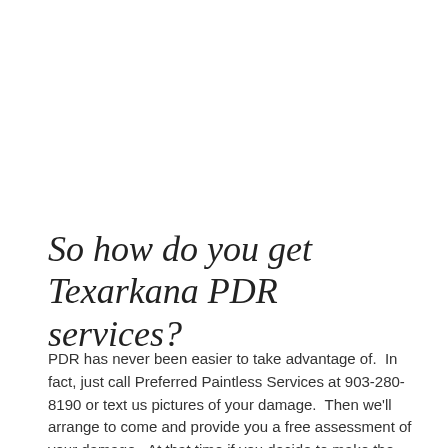So how do you get Texarkana PDR services?
PDR has never been easier to take advantage of.  In fact, just call Preferred Paintless Services at 903-280-8190 or text us pictures of your damage.  Then we'll arrange to come and provide you a free assessment of your damage.  At that time if you decide to make the repair, we'll make the repair.  If your damage is covered by insurance, PDR will save you the...